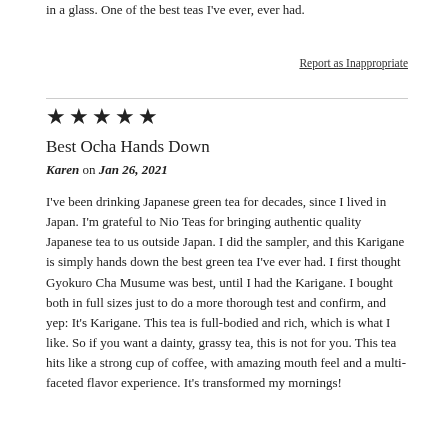in a glass. One of the best teas I've ever, ever had.
Report as Inappropriate
[Figure (other): Five filled star rating icons]
Best Ocha Hands Down
Karen on Jan 26, 2021
I've been drinking Japanese green tea for decades, since I lived in Japan. I'm grateful to Nio Teas for bringing authentic quality Japanese tea to us outside Japan. I did the sampler, and this Karigane is simply hands down the best green tea I've ever had. I first thought Gyokuro Cha Musume was best, until I had the Karigane. I bought both in full sizes just to do a more thorough test and confirm, and yep: It's Karigane. This tea is full-bodied and rich, which is what I like. So if you want a dainty, grassy tea, this is not for you. This tea hits like a strong cup of coffee, with amazing mouth feel and a multi-faceted flavor experience. It's transformed my mornings!